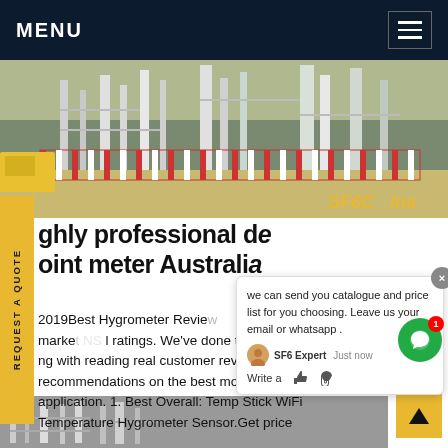MENU
[Figure (photo): Industrial site with fencing, gates and equipment; SF6China logo/watermark visible in bottom right]
REQUEST A QUOTE
highly professional dew point meter Australia
2019Best Hygrometer Reviews: The Best of best hygrometers on the market based on ratings. We've done the research and testing—along with reading real customer reviews—to offer recommendations on the best models for every application. 1. Best Overall: Temp Stick WiFi Temperature Hygrometer Sensor.Get price
[Figure (screenshot): Chat popup with SF6 Expert avatar, showing message: 'we can send you catalogue and price list for you choosing. Leave us your email or whatsapp .' with a close button, thumbs up and attachment icons, and a Write a message prompt]
[Figure (photo): Bottom strip showing industrial equipment, partial view]